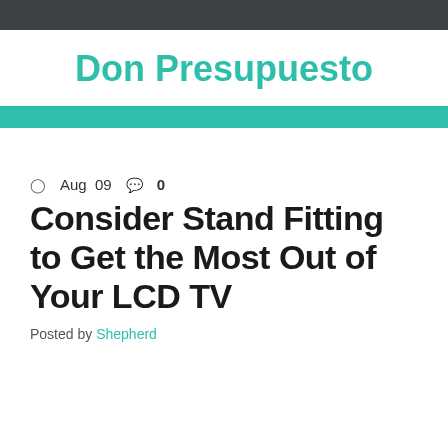Don Presupuesto
Aug 09   0
Consider Stand Fitting to Get the Most Out of Your LCD TV
Posted by Shepherd